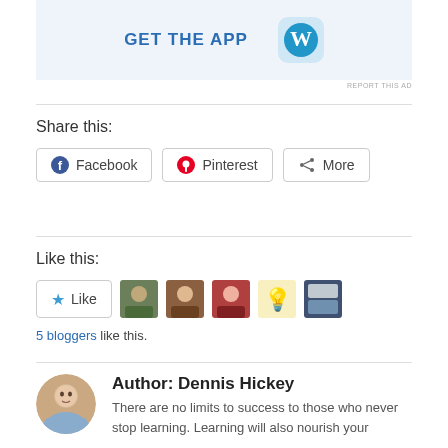[Figure (logo): WordPress app advertisement banner with 'GET THE APP' text and WordPress W logo icon]
REPORT THIS AD
Share this:
Facebook
Pinterest
More
Like this:
[Figure (photo): Like button with star icon and 5 blogger avatars]
5 bloggers like this.
Author: Dennis Hickey
There are no limits to success to those who never stop learning. Learning will also nourish your